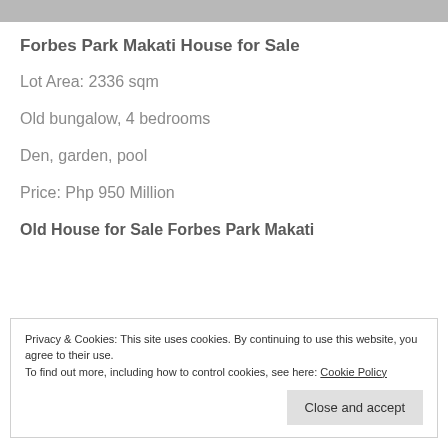[Figure (photo): Partial view of a property photo at the top of the page]
Forbes Park Makati House for Sale
Lot Area: 2336 sqm
Old bungalow, 4 bedrooms
Den, garden, pool
Price: Php 950 Million
Old House for Sale Forbes Park Makati
Privacy & Cookies: This site uses cookies. By continuing to use this website, you agree to their use.
To find out more, including how to control cookies, see here: Cookie Policy